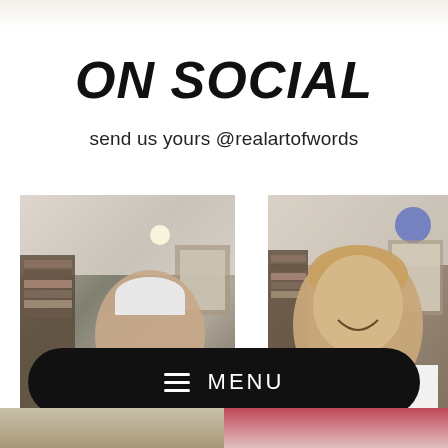ON SOCIAL
send us yours @realartofwords
[Figure (photo): Two photos side by side showing people holding artwork/prints. Left photo: person wearing white cap holding a print in a room with bookshelves. Right photo: smiling man holding a print with a red heart/face design, bookshelves in background.]
≡ MENU